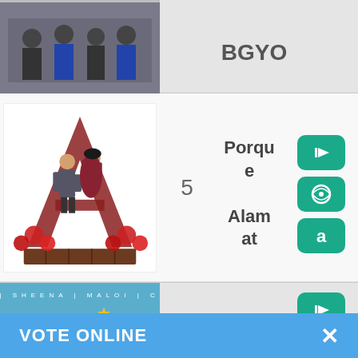[Figure (photo): Partial top row showing a group photo with BGYO text label]
BGYO
[Figure (photo): Album art for Porque by Alamat showing illustrated couple with roses on a letter A]
5
Porque Alamat
[Figure (photo): BINI Born to Win album cover showing group of girls]
6
Golden Arrow
VOTE ONLINE